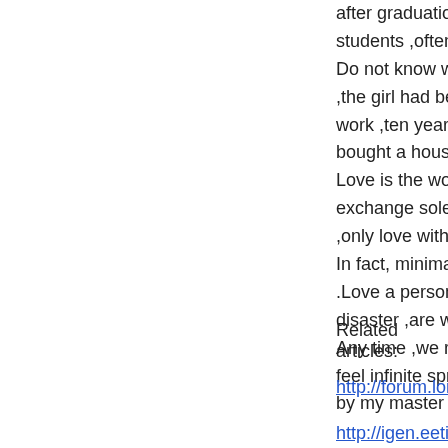after graduation ,a group of students through vario... students ,often through QQ group chat something . Do not know who is also mentioned in the girl and ,the girl had been live up to now ,but also gave bir... work ,ten years ago to earn some money ,in his ho... bought a house ,finally to steady the root ,have a h... Love is the world feelings, people often like to dec... exchange solemn vows and pledges to measure th... ,only love with vigour and vitality ,is the true love . In fact, minimalist ,love silent .Love a person ,with... .Love a person ,you love him ( her ) all inclusive ,h... disaster ,are willing to have mutual affinity , doudou... Any time ,we remember the love ,let love to acom... feel infinite spring .This is a true story ,the hero is ... by my master ,I write articles by .
Related articles:
http://forum.londonque...viewtopic.php?f=2&t=1
http://igen.eetimes.com/what-is-an-engineer/
http://www.xitangcultu...:extra=page%3D1#pid546